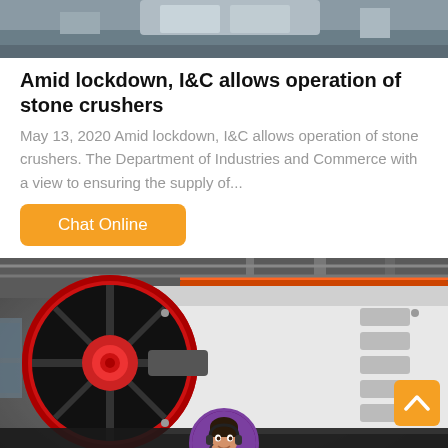[Figure (photo): Top portion of industrial stone crusher machinery in a factory setting - partial view]
Amid lockdown, I&C allows operation of stone crushers
May 13, 2020 Amid lockdown, I&C allows operation of stone crushers. The Department of Industries and Commerce with a view to ensuring the supply of...
Chat Online
[Figure (photo): Industrial stone crusher machinery in a large factory/warehouse. Features a large red and black flywheel on the left and white crusher body on the right, with red overhead crane beam visible.]
Leave Message
Chat Online